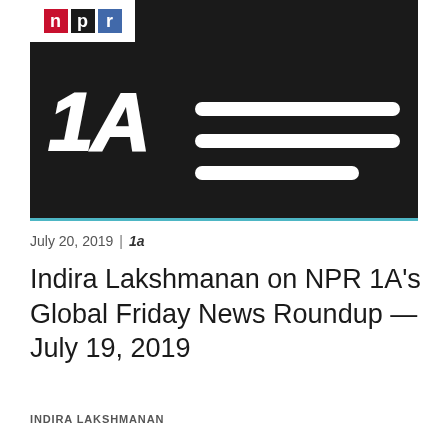[Figure (illustration): NPR 1A podcast logo image on dark/black background. NPR logo in top-left corner with red N, black P, blue R boxes. Large white handwritten-style '1A' text on the left, and three thick white horizontal lines on the right resembling a hamburger menu or flag stripes. Teal/cyan border at the bottom.]
July 20, 2019 | 1a
Indira Lakshmanan on NPR 1A's Global Friday News Roundup — July 19, 2019
INDIRA LAKSHMANAN